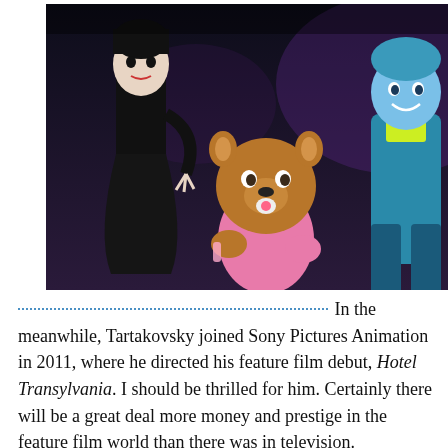[Figure (photo): Animated movie poster or scene from Hotel Transylvania showing cartoon characters including a tall woman in black, a small werewolf baby with a pacifier in pink clothing, and a blue-tinted male character in a teal/blue jacket]
In the meanwhile, Tartakovsky joined Sony Pictures Animation in 2011, where he directed his feature film debut, Hotel Transylvania. I should be thrilled for him. Certainly there will be a great deal more money and prestige in the feature film world than there was in television.

But I can't help worrying. There will also be a great deal more pressure to constrain the content. At this point in time, American feature length animation is still aimed at children, and Hotel Transylvania is no exception — no offense meant to it. It's fine as far as it goes. But it is not the equal of Samurai Jack or The Sym-Bionic Titan. I do